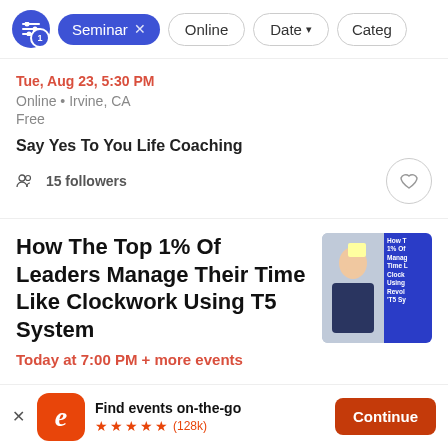[Figure (screenshot): Filter bar with filter icon, Seminar active pill, Online pill, Date pill, and Category pill (truncated)]
Tue, Aug 23, 5:30 PM
Online • Irvine, CA
Free
Say Yes To You Life Coaching
15 followers
How The Top 1% Of Leaders Manage Their Time Like Clockwork Using T5 System
Today at 7:00 PM + more events
Find events on-the-go ★★★★★ (128k)
Continue